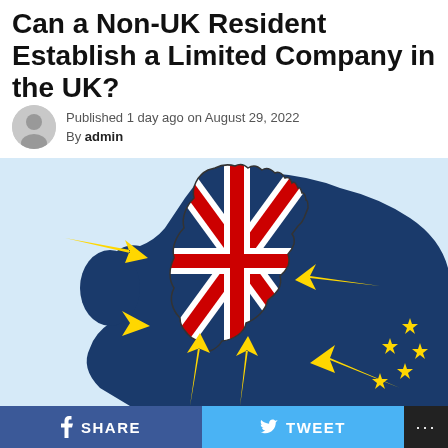Can a Non-UK Resident Establish a Limited Company in the UK?
Published 1 day ago on August 29, 2022
By admin
[Figure (illustration): Illustration showing a map of the UK filled with the Union Jack flag, surrounded by European map in dark blue with EU stars, and yellow arrows pointing toward the UK from various directions, representing foreign business investment into the UK.]
SHARE  TWEET ...